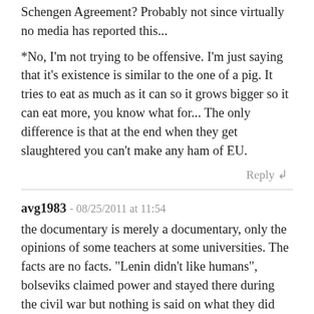Schengen Agreement? Probably not since virtually no media has reported this...
*No, I'm not trying to be offensive. I'm just saying that it's existence is similar to the one of a pig. It tries to eat as much as it can so it grows bigger so it can eat more, you know what for... The only difference is that at the end when they get slaughtered you can't make any ham of EU.
Reply ↲
avg1983 - 08/25/2011 at 11:54
the documentary is merely a documentary, only the opinions of some teachers at some universities. The facts are no facts. "Lenin didn't like humans", bolseviks claimed power and stayed there during the civil war but nothing is said on what they did and if the lives of the people in russia got any better related to the former regime. Is there any possibility that lenin and the party lead people to a better living that they throught the